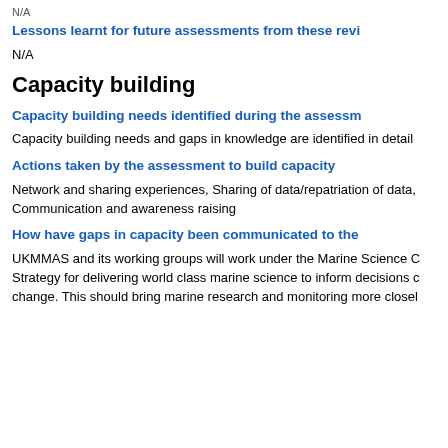N/A
Lessons learnt for future assessments from these revi
N/A
Capacity building
Capacity building needs identified during the assessm
Capacity building needs and gaps in knowledge are identified in detail
Actions taken by the assessment to build capacity
Network and sharing experiences, Sharing of data/repatriation of data, Communication and awareness raising
How have gaps in capacity been communicated to the
UKMMAS and its working groups will work under the Marine Science C Strategy for delivering world class marine science to inform decisions c change. This should bring marine research and monitoring more closel